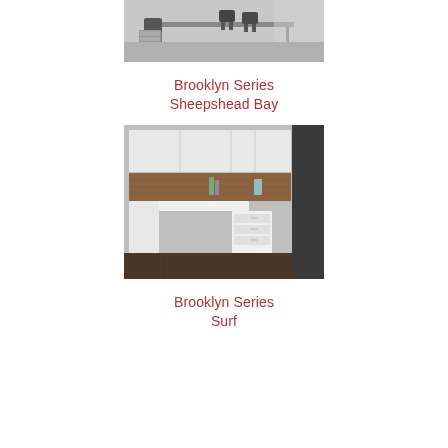[Figure (photo): Office furniture product photo showing a modern conference/desk setup with black chairs and a glass-top table, black and white photo]
Brooklyn Series
Sheepshead Bay
[Figure (photo): Office furniture product photo showing a white L-shaped desk with overhead cabinets and wood-panel backsplash accent, white desk with drawers]
Brooklyn Series
Surf